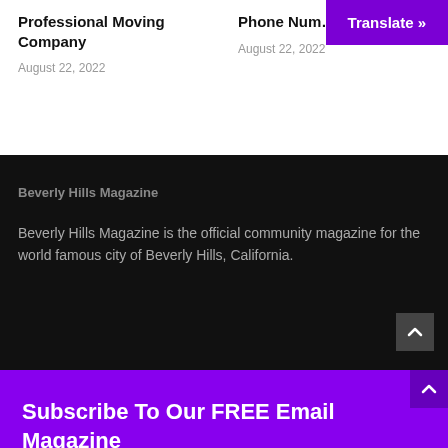Professional Moving Company
August 22, 2022
Phone Num…
August 22, 2022
Beverly Hills Magazine
Beverly Hills Magazine is the official community magazine for the world famous city of Beverly Hills, California.
Subscribe To Our FREE Email Magazine
Email*
Type your email